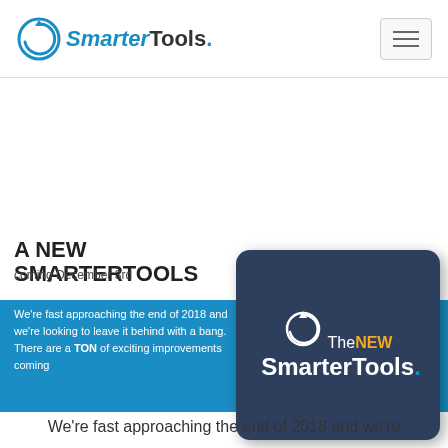SmarterTools. (logo with navigation hamburger menu)
A NEW SMARTERTOOLS
coming December 3rd
[Figure (logo): The NEW SmarterTools. logo on dark blue rounded rectangle card with circular arrow icon]
We're fast approaching the end of 2018 and we're looking to leave it behind with a bang. There are a TON of exciting improvements coming
We're fast approaching the end of 2018 and we're